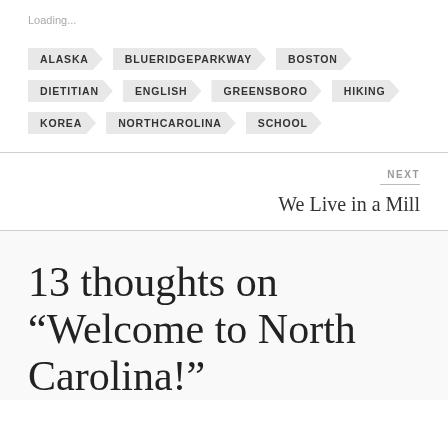Loading...
ALASKA
BLUERIDGEPARKWAY
BOSTON
DIETITIAN
ENGLISH
GREENSBORO
HIKING
KOREA
NORTHCAROLINA
SCHOOL
NEXT
We Live in a Mill
13 thoughts on “Welcome to North Carolina!”